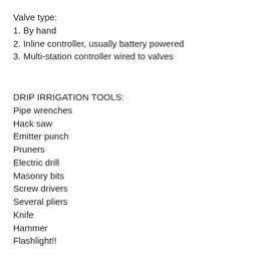Valve type:
1. By hand
2. Inline controller, usually battery powered
3. Multi-station controller wired to valves
DRIP IRRIGATION TOOLS:
Pipe wrenches
Hack saw
Emitter punch
Pruners
Electric drill
Masonry bits
Screw drivers
Several pliers
Knife
Hammer
Flashlight!!
DRIP IRRIGATON SUPPLIES
Emitters (aka drippers)